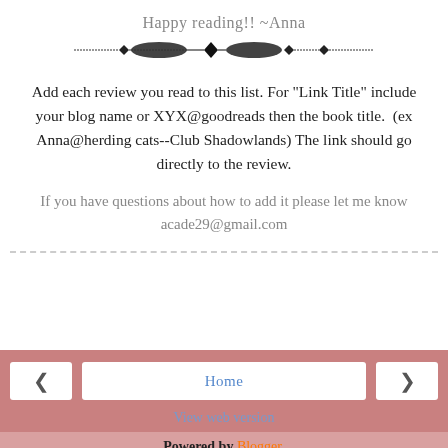Happy reading!!  ~Anna
[Figure (illustration): Decorative ornamental divider with diamond shapes and oval flourishes]
Add each review you read to this list. For "Link Title" include your blog name or XYX@goodreads then the book title.  (ex Anna@herding cats--Club Shadowlands) The link should go directly to the review.
If you have questions about how to add it please let me know acade29@gmail.com
Home | View web version | Powered by Blogger.